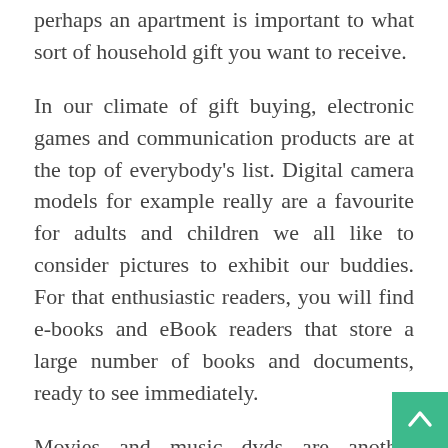perhaps an apartment is important to what sort of household gift you want to receive.
In our climate of gift buying, electronic games and communication products are at the top of everybody's list. Digital camera models for example really are a favourite for adults and children we all like to consider pictures to exhibit our buddies. For that enthusiastic readers, you will find e-books and eBook readers that store a large number of books and documents, ready to see immediately.
Movies and music dvds are another favourite gift, specifically for teenagers, although communication devices is going to be sur[face]